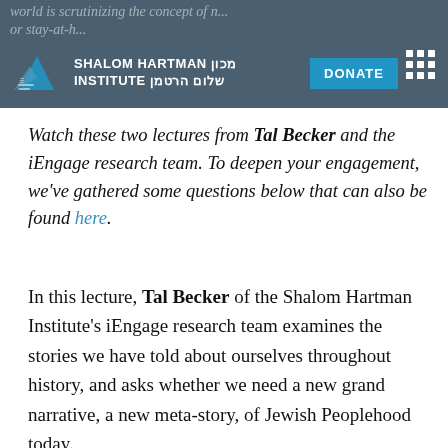Shalom Hartman Institute — website header with logo, DONATE button, and navigation
Watch these two lectures from Tal Becker and the iEngage research team. To deepen your engagement, we've gathered some questions below that can also be found here.
In this lecture, Tal Becker of the Shalom Hartman Institute's iEngage research team examines the stories we have told about ourselves throughout history, and asks whether we need a new grand narrative, a new meta-story, of Jewish Peoplehood today.